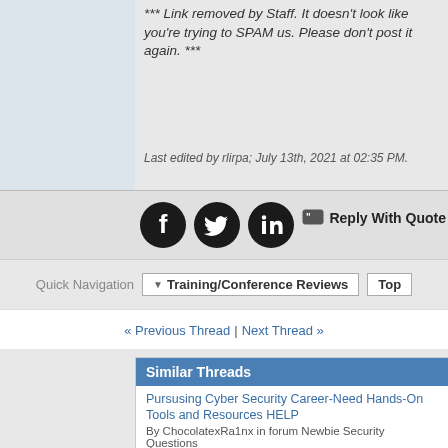*** Link removed by Staff. It doesn't look like you're trying to SPAM us. Please don't post it again. ***
Last edited by rlirpa; July 13th, 2021 at 02:35 PM.
[Figure (other): Social media icons: Facebook, Twitter, LinkedIn]
Reply With Quote
Quick Navigation  Training/Conference Reviews  Top
« Previous Thread | Next Thread »
Similar Threads
Pursusing Cyber Security Career-Need Hands-On Tools and Resources HELP
By ChocolatexRa1nx in forum Newbie Security Questions
Replies: 1
Last Post: May 11th, 2016, 09:16 PM
Data masking/scrubbing tools
By tornado579 in forum Cryptography, Steganography, etc.
Replies: 0
Last Post: February 2nd, 2019, 11:07 AM